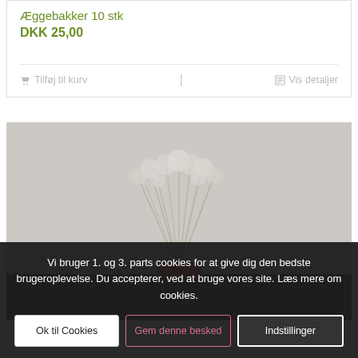Æggebakker 10 stk
DKK 25,00
🛒 Tilføj til kurv | 📋 Vis detaljer
[Figure (photo): Photo of a bouquet of dried/white flowers or plant stems tied with a red ribbon, photographed against a light gray background]
Vi bruger 1. og 3. parts cookies for at give dig den bedste brugeroplevelse. Du accepterer, ved at bruge vores site. Læs mere om cookies.
Ok til Cookies
Gem denne besked
Indstillinger